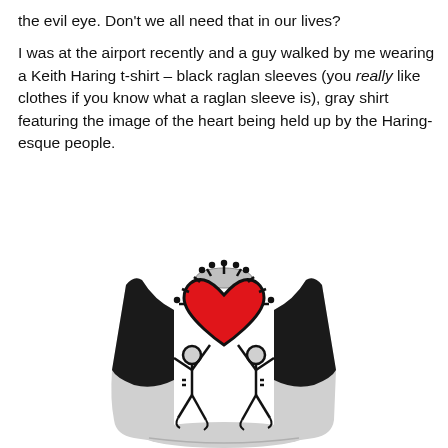the evil eye. Don’t we all need that in our lives?
I was at the airport recently and a guy walked by me wearing a Keith Haring t-shirt – black raglan sleeves (you really like clothes if you know what a raglan sleeve is), gray shirt featuring the image of the heart being held up by the Haring-esque people.
[Figure (photo): A gray and black raglan sleeve t-shirt featuring a Keith Haring-style design: a large red heart being held aloft by two cartoon Haring-esque figures on a gray body with black 3/4 sleeves.]